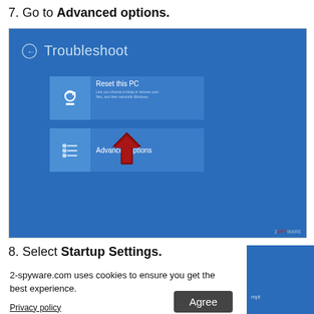7. Go to Advanced options.
[Figure (screenshot): Windows 10 blue Troubleshoot screen showing 'Reset this PC' and 'Advanced options' tiles, with a red arrow pointing to Advanced options.]
8. Select Startup Settings.
2-spyware.com uses cookies to ensure you get the best experience.
Privacy policy
Agree